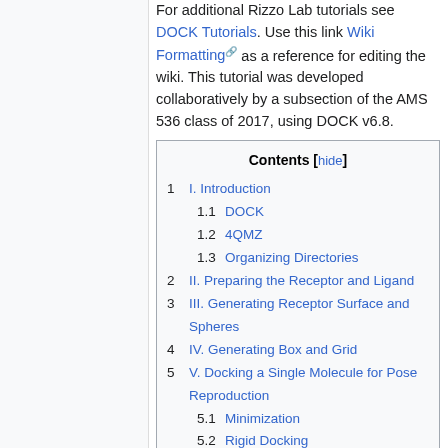For additional Rizzo Lab tutorials see DOCK Tutorials. Use this link Wiki Formatting as a reference for editing the wiki. This tutorial was developed collaboratively by a subsection of the AMS 536 class of 2017, using DOCK v6.8.
| Contents [hide] |
| --- |
| 1  I. Introduction |
| 1.1  DOCK |
| 1.2  4QMZ |
| 1.3  Organizing Directories |
| 2  II. Preparing the Receptor and Ligand |
| 3  III. Generating Receptor Surface and Spheres |
| 4  IV. Generating Box and Grid |
| 5  V. Docking a Single Molecule for Pose Reproduction |
| 5.1  Minimization |
| 5.2  Rigid Docking |